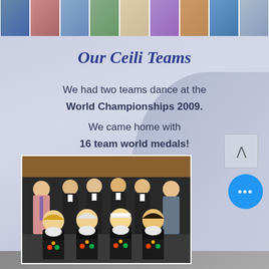[Figure (photo): Horizontal strip of small thumbnail photos of people at the top of the page]
Our Ceili Teams
We had two teams dance at the World Championships 2009. We came home with 16 team world medals!
[Figure (photo): Group photo of Irish dancers in traditional costumes (black dresses with colorful embroidery) seated in front row, with male dancers and two adults in back row, in a formal pose]
[Figure (other): Blue circular button with three dots (more options button)]